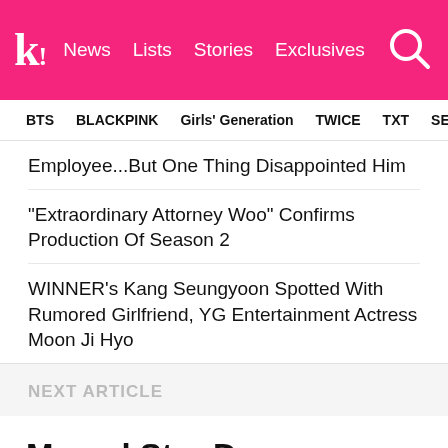k! News Lists Stories Exclusives
BTS  BLACKPINK  Girls' Generation  TWICE  TXT  SEVE...
Employee...But One Thing Disappointed Him
"Extraordinary Attorney Woo" Confirms Production Of Season 2
WINNER's Kang Seungyoon Spotted With Rumored Girlfriend, YG Entertainment Actress Moon Ji Hyo
NEXT ARTICLE
Marvel Star Danny Ramirez Proves That He Is A True BTS Fanboy
Danny is a proud ARMY!